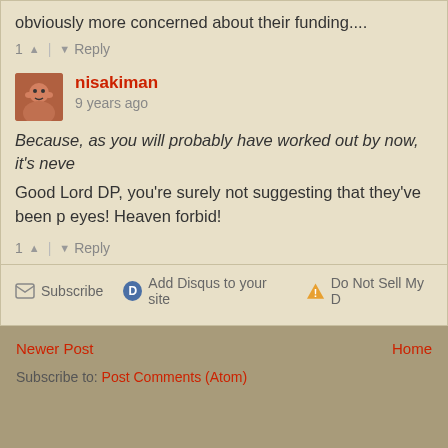obviously more concerned about their funding....
1 ↑ | ↓ Reply
nisakiman
9 years ago
Because, as you will probably have worked out by now, it's neve
Good Lord DP, you're surely not suggesting that they've been p eyes! Heaven forbid!
1 ↑ | ↓ Reply
Subscribe | Add Disqus to your site | Do Not Sell My D
Newer Post   Home
Subscribe to: Post Comments (Atom)